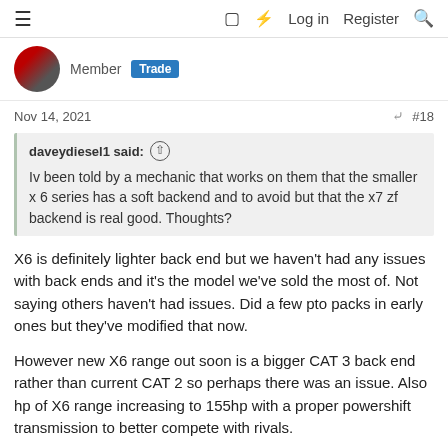≡  □  ⚡  Log in  Register  🔍
Member  Trade
Nov 14, 2021  #18
daveydiesel1 said: ↑

Iv been told by a mechanic that works on them that the smaller x 6 series has a soft backend and to avoid but that the x7 zf backend is real good. Thoughts?
X6 is definitely lighter back end but we haven't had any issues with back ends and it's the model we've sold the most of. Not saying others haven't had issues. Did a few pto packs in early ones but they've modified that now.
However new X6 range out soon is a bigger CAT 3 back end rather than current CAT 2 so perhaps there was an issue. Also hp of X6 range increasing to 155hp with a proper powershift transmission to better compete with rivals.